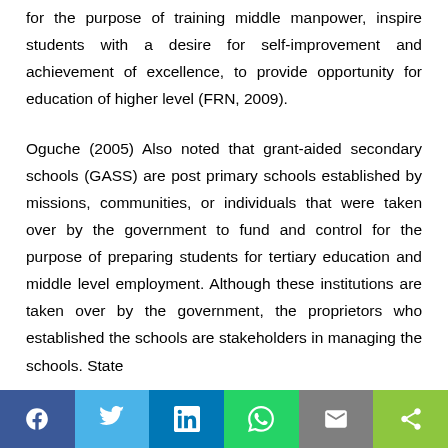for the purpose of training middle manpower, inspire students with a desire for self-improvement and achievement of excellence, to provide opportunity for education of higher level (FRN, 2009).
Oguche (2005) Also noted that grant-aided secondary schools (GASS) are post primary schools established by missions, communities, or individuals that were taken over by the government to fund and control for the purpose of preparing students for tertiary education and middle level employment. Although these institutions are taken over by the government, the proprietors who established the schools are stakeholders in managing the schools. State